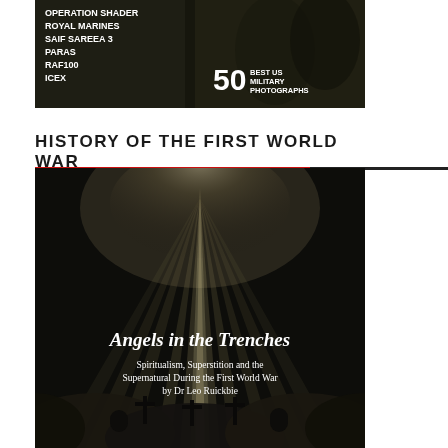[Figure (photo): Military magazine cover showing soldiers in camouflage with text listing: OPERATION SHADER, ROYAL MARINES, SAIF SAREEA 3, PARAS, RAF100, ICEX, and a badge reading 50 BEST US MILITARY PHOTOGRAPHS]
HISTORY OF THE FIRST WORLD WAR
[Figure (photo): Book cover for 'Angels in the Trenches: Spiritualism, Superstition and the Supernatural During the First World War by Dr Leo Ruickbie' showing rays of light in dark sky with silhouetted crosses/graves in foreground]